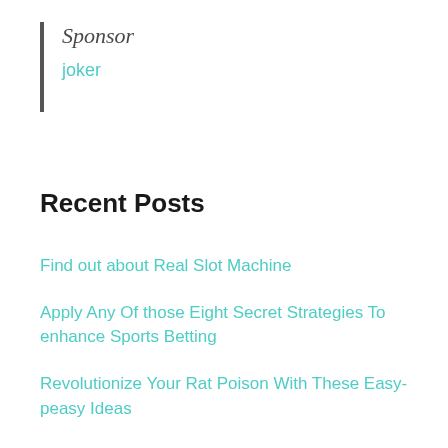Sponsor
joker
Recent Posts
Find out about Real Slot Machine
Apply Any Of those Eight Secret Strategies To enhance Sports Betting
Revolutionize Your Rat Poison With These Easy-peasy Ideas
Slots Casino No Deposit Bonus
Things You Must Find Out About Roblox Store